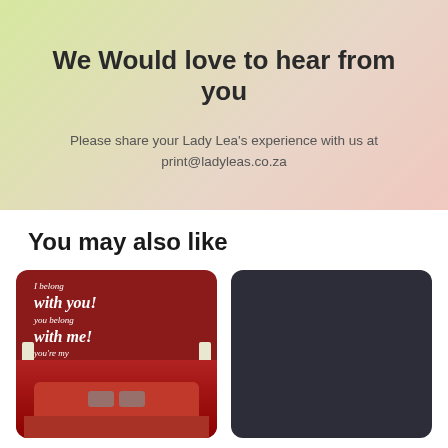We Would love to hear from you
Please share your Lady Lea's experience with us at print@ladyleas.co.za
You may also like
[Figure (photo): A red bedroom wall with white cursive script reading 'I belong with you! you belong with me! you're my Sweetheart!' above a red bed with grey pillows and white lamps on either side.]
[Figure (photo): A dark navy/charcoal colored square image, partially visible.]